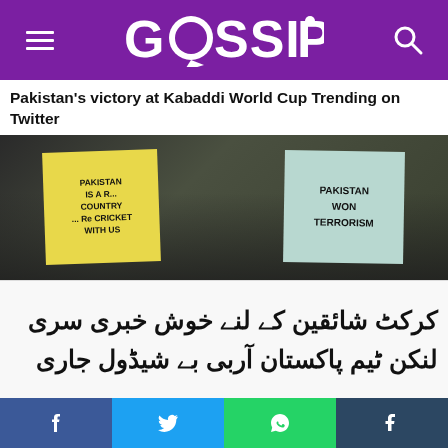GOSSIP
Pakistan's victory at Kabaddi World Cup Trending on Twitter
[Figure (photo): Crowd of people holding signs: yellow sign reading 'PAKISTAN IS A R... COUNTRY ... Re Cricket WITH US' and blue sign reading 'PAKISTAN WON TERRORISM']
[Figure (photo): Urdu text on white background: cricket fans news article in Urdu script]
PCB Announces Schedule of Sri Lanka Test Series
[Figure (photo): Crowd celebrating with person holding a trophy]
Facebook | Twitter | WhatsApp | Tumblr